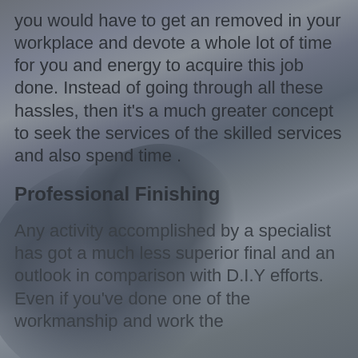you would have to get an removed in your workplace and devote a whole lot of time for you and energy to acquire this job done. Instead of going through all these hassles, then it's a much greater concept to seek the services of the skilled services and also spend time .
Professional Finishing
Any activity accomplished by a specialist has got a much less superior final and an outlook in comparison with D.I.Y efforts. Even if you've done one of the workmanship and work the